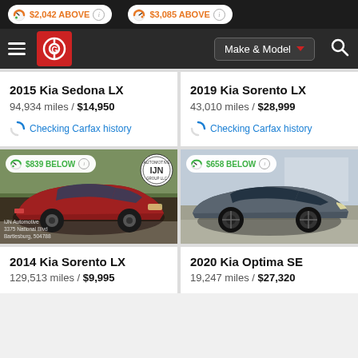[Figure (screenshot): Car listing page from Carfax/CarGurus mobile app showing 4 vehicle listings with price badges]
$2,042 ABOVE
$3,085 ABOVE
[Figure (logo): Red Carfax/CarGurus logo with G icon]
Make & Model
2015 Kia Sedona LX
94,934 miles / $14,950
Checking Carfax history
2019 Kia Sorento LX
43,010 miles / $28,999
Checking Carfax history
[Figure (photo): Red 2014 Kia Sorento LX SUV with $839 BELOW badge]
[Figure (photo): Gray 2020 Kia Optima SE with $658 BELOW badge]
2014 Kia Sorento LX
129,513 miles / $9,995
2020 Kia Optima SE
19,247 miles / $27,320